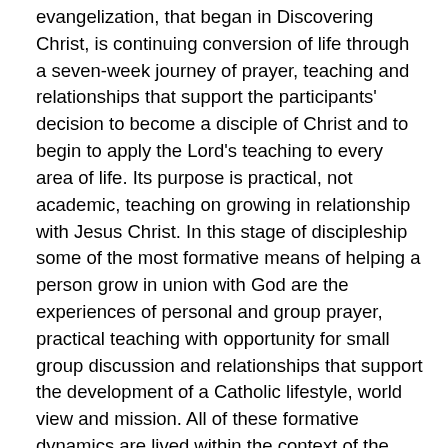evangelization, that began in Discovering Christ, is continuing conversion of life through a seven-week journey of prayer, teaching and relationships that support the participants' decision to become a disciple of Christ and to begin to apply the Lord's teaching to every area of life. Its purpose is practical, not academic, teaching on growing in relationship with Jesus Christ. In this stage of discipleship some of the most formative means of helping a person grow in union with God are the experiences of personal and group prayer, practical teaching with opportunity for small group discussion and relationships that support the development of a Catholic lifestyle, world view and mission. All of these formative dynamics are lived within the context of the Church, which includes regular reception of the sacraments and participation in the liturgy.
Each session includes a weekly practical application that will help participants establish spiritual disciplines and apply foundational truths for growing in Christ. If the participants